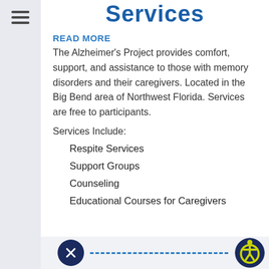Services
READ MORE
The Alzheimer's Project provides comfort, support, and assistance to those with memory disorders and their caregivers. Located in the Big Bend area of Northwest Florida. Services are free to participants.
Services Include:
Respite Services
Support Groups
Counseling
Educational Courses for Caregivers